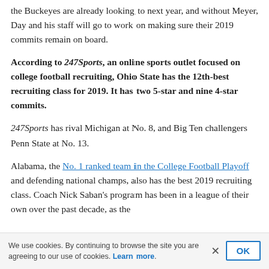the Buckeyes are already looking to next year, and without Meyer, Day and his staff will go to work on making sure their 2019 commits remain on board.
According to 247Sports, an online sports outlet focused on college football recruiting, Ohio State has the 12th-best recruiting class for 2019. It has two 5-star and nine 4-star commits.
247Sports has rival Michigan at No. 8, and Big Ten challengers Penn State at No. 13.
Alabama, the No. 1 ranked team in the College Football Playoff and defending national champs, also has the best 2019 recruiting class. Coach Nick Saban's program has been in a league of their own over the past decade, as the
We use cookies. By continuing to browse the site you are agreeing to our use of cookies. Learn more.